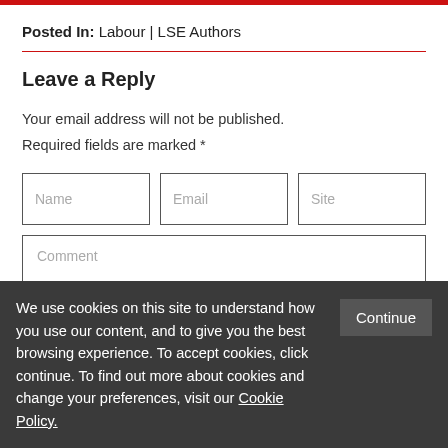Posted In: Labour | LSE Authors
Leave a Reply
Your email address will not be published.
Required fields are marked *
Name | Email | Site (form inputs)
Comment (textarea)
We use cookies on this site to understand how you use our content, and to give you the best browsing experience. To accept cookies, click continue. To find out more about cookies and change your preferences, visit our Cookie Policy.